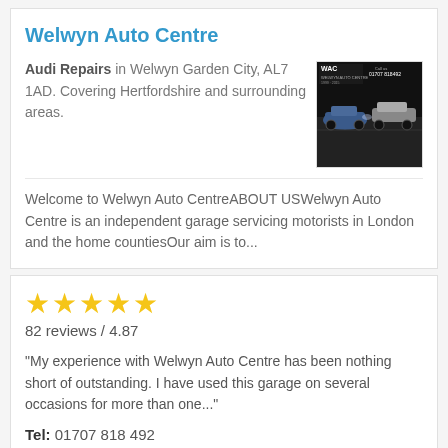Welwyn Auto Centre
Audi Repairs in Welwyn Garden City, AL7 1AD. Covering Hertfordshire and surrounding areas.
[Figure (photo): WAC Welwyn Auto Centre logo and garage interior photo showing cars being serviced, with phone number 01707 818492]
Welcome to Welwyn Auto CentreABOUT USWelwyn Auto Centre is an independent garage servicing motorists in London and the home countiesOur aim is to...
82 reviews / 4.87
"My experience with Welwyn Auto Centre has been nothing short of outstanding. I have used this garage on several occasions for more than one..."
Tel: 01707 818 492